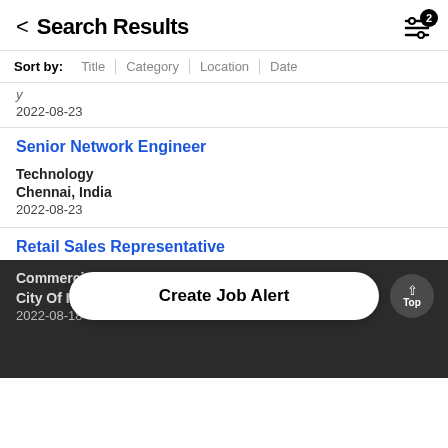Search Results
Sort by: Title | Category | Location | Date
2022-08-23
Senior Network Engineer
Technology
Chennai, India
2022-08-23
Retail Sales Representative
Commercial
City Of Ind...
2022-08-18
Create Job Alert